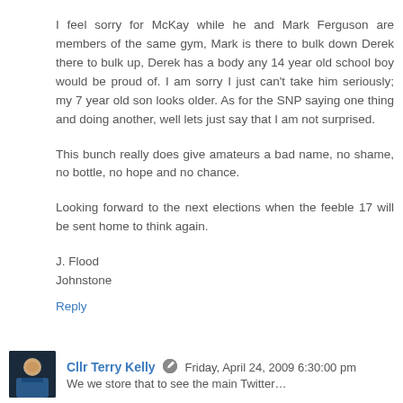I feel sorry for McKay while he and Mark Ferguson are members of the same gym, Mark is there to bulk down Derek there to bulk up, Derek has a body any 14 year old school boy would be proud of. I am sorry I just can't take him seriously; my 7 year old son looks older. As for the SNP saying one thing and doing another, well lets just say that I am not surprised.
This bunch really does give amateurs a bad name, no shame, no bottle, no hope and no chance.
Looking forward to the next elections when the feeble 17 will be sent home to think again.
J. Flood
Johnstone
Reply
Cllr Terry Kelly  Friday, April 24, 2009 6:30:00 pm